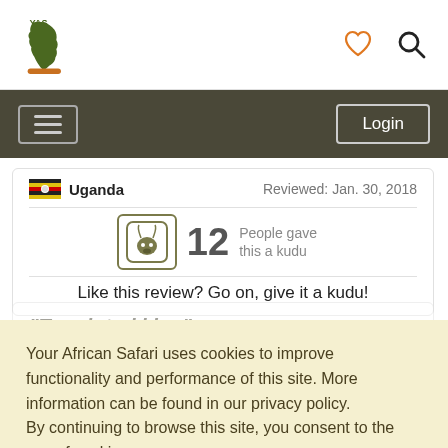[Figure (logo): Your African Safari logo - Africa continent silhouette in dark green with YAS text on top, and orange/brown bar at bottom]
[Figure (illustration): Heart icon outline in orange color]
[Figure (illustration): Search/magnifying glass icon in dark color]
[Figure (illustration): Hamburger menu button with three horizontal lines]
Login
Uganda   Reviewed: Jan. 30, 2018
[Figure (illustration): Kudu antelope face icon in a rounded square border]
12   People gave this a kudu
Like this review? Go on, give it a kudu!
"Tough trekking"
Your African Safari uses cookies to improve functionality and performance of this site. More information can be found in our privacy policy.
By continuing to browse this site, you consent to the use of cookies.
OK